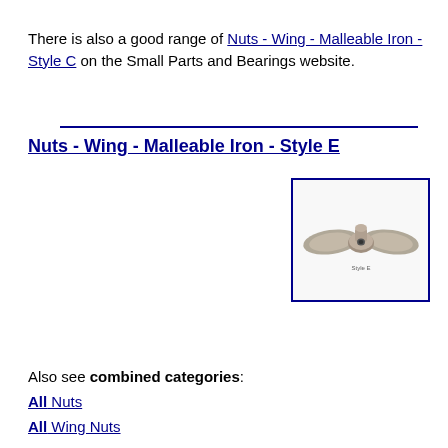There is also a good range of Nuts - Wing - Malleable Iron - Style C on the Small Parts and Bearings website.
[Figure (photo): Photo of a malleable iron wing nut Style E, shown from above at slight angle, metallic grey color, with a small threaded hole visible in center, displayed in blue-bordered box]
Nuts - Wing - Malleable Iron - Style E
Sizes & Prices
Also see combined categories:
All Nuts
All Wing Nuts